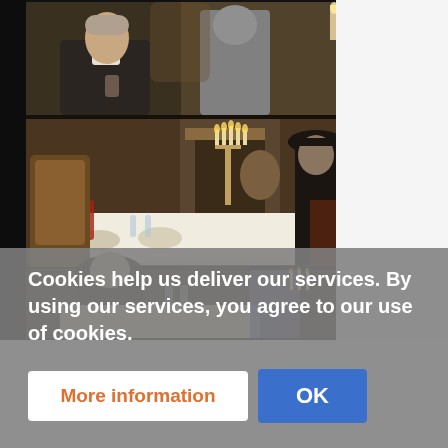[Figure (screenshot): Three stacked film stills from what appears to be a period drama or horror film. Top frame: a man in formal wear with white bow tie holding a glass, with a suit of armor visible in background. Middle frame: an elaborate dining room scene with candelabras, ornate furniture, and a man in a black hat and coat. Bottom frame: a dimly lit scene with figures at a table.]
Cookies help us deliver our services. By using our services, you agree to our use of cookies.
More information
OK